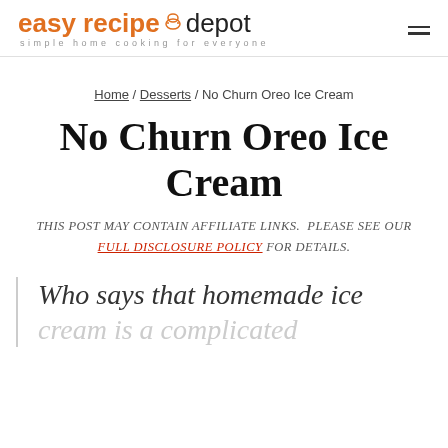easy recipe depot — simple home cooking for everyone
Home / Desserts / No Churn Oreo Ice Cream
No Churn Oreo Ice Cream
THIS POST MAY CONTAIN AFFILIATE LINKS.  PLEASE SEE OUR FULL DISCLOSURE POLICY FOR DETAILS.
Who says that homemade ice cream is a complicated